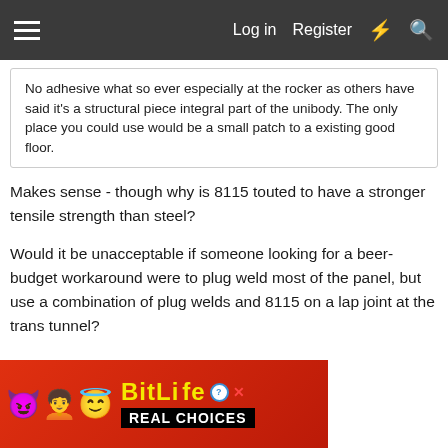Log in  Register
No adhesive what so ever especially at the rocker as others have said it's a structural piece integral part of the unibody. The only place you could use would be a small patch to a existing good floor.
Makes sense - though why is 8115 touted to have a stronger tensile strength than steel?
Would it be unacceptable if someone looking for a beer-budget workaround were to plug weld most of the panel, but use a combination of plug welds and 8115 on a lap joint at the trans tunnel?
I'm not necessarily advocating lapping the panels, but for someone who wishes to do so, it would seem as if using the 8115 and plug welds would be a long-lasting method to seal the lap joint (provided it's epoxy to epoxy). Unless 8115 is
[Figure (screenshot): BitLife advertisement banner with devil emoji, person with knife emoji, angel emoji, and text 'BitLife REAL CHOICES']